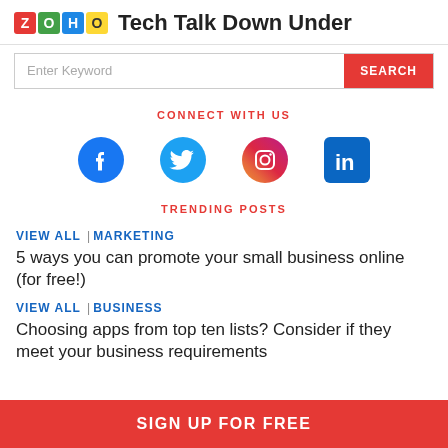Zoho Tech Talk Down Under
Enter Keyword
CONNECT WITH US
[Figure (illustration): Social media icons: Facebook, Twitter, Instagram, LinkedIn]
TRENDING POSTS
VIEW ALL |MARKETING
5 ways you can promote your small business online (for free!)
VIEW ALL |BUSINESS
Choosing apps from top ten lists? Consider if they meet your business requirements
SIGN UP FOR FREE